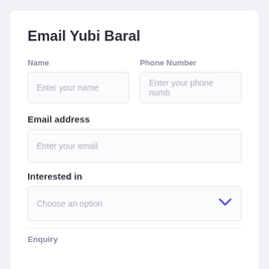Email Yubi Baral
Name
Enter your name
Phone Number
Enter your phone numb
Email address
Enter your email
Interested in
Choose an option
Enquiry